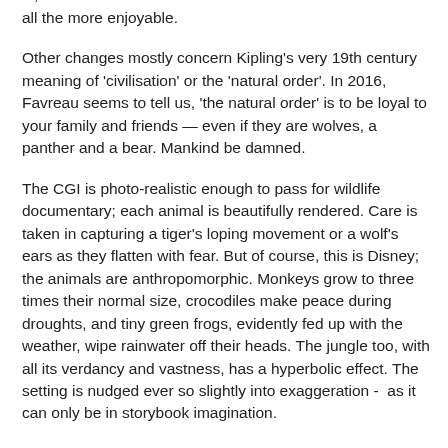by the plot. But certain beloved songs do sneak their way in, and Favreau's restraint with them make those moments all the more enjoyable.
Other changes mostly concern Kipling's very 19th century meaning of 'civilisation' or the 'natural order'. In 2016, Favreau seems to tell us, 'the natural order' is to be loyal to your family and friends — even if they are wolves, a panther and a bear. Mankind be damned.
The CGI is photo-realistic enough to pass for wildlife documentary; each animal is beautifully rendered. Care is taken in capturing a tiger's loping movement or a wolf's ears as they flatten with fear. But of course, this is Disney; the animals are anthropomorphic. Monkeys grow to three times their normal size, crocodiles make peace during droughts, and tiny green frogs, evidently fed up with the weather, wipe rainwater off their heads. The jungle too, with all its verdancy and vastness, has a hyperbolic effect. The setting is nudged ever so slightly into exaggeration -  as it can only be in storybook imagination.